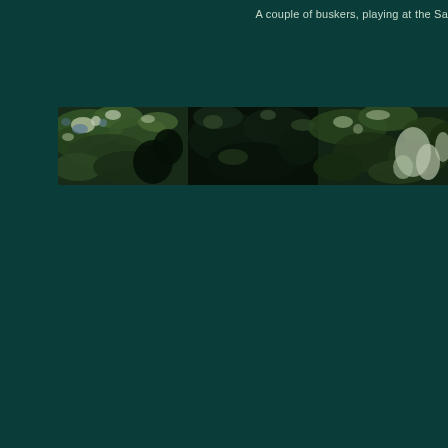A couple of buskers, playing at the Sa
[Figure (photo): A horizontal strip photograph showing an outdoor scene with trees and foliage, viewed from below looking up. The image is dark and dense with green tree canopy and some bright patches of sky or light visible through the leaves.]